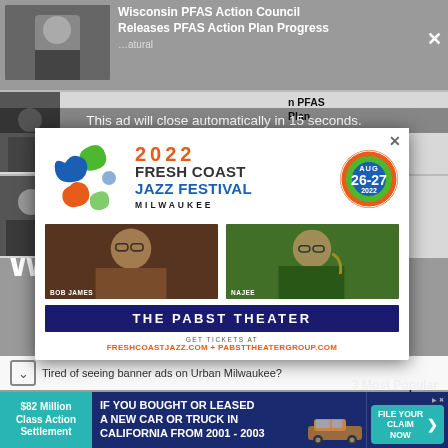[Figure (screenshot): Background news website page showing articles about Wisconsin PFAS Action Council]
This ad will close automatically in 15 seconds.
[Figure (illustration): 2022 Fresh Coast Jazz Festival Milwaukee advertisement popup. Features colorful swirl logo, date AUG 26-27 2022, performer photos of Bob James and Najee, The Pabst Theater banner, and ticket URL freshcoastjazz.com + pabsttheatergroup.com]
Tired of seeing banner ads on Urban Milwaukee?
[Figure (infographic): Bottom banner ad: $82 Million Class Action Settlement - IF YOU BOUGHT OR LEASED A NEW CAR OR TRUCK IN CALIFORNIA FROM 2001 - 2003 - FILE YOUR CLAIM NOW]